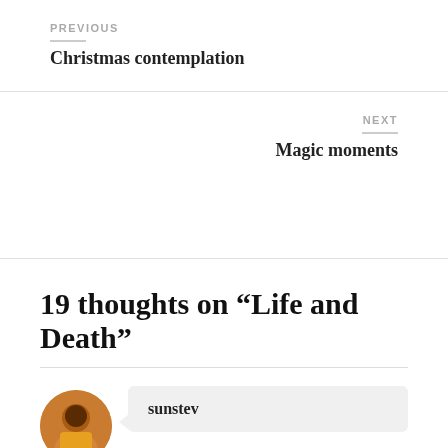PREVIOUS
Christmas contemplation
NEXT
Magic moments
19 thoughts on “Life and Death”
sunstev